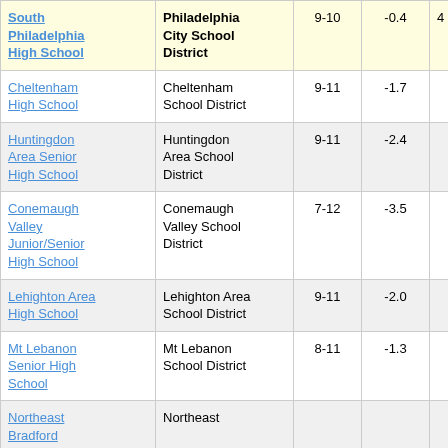| School | District | Grades | Score |  |
| --- | --- | --- | --- | --- |
| South Philadelphia High School | Philadelphia City School District | 9-10 | -0.4 | 4 |
| Cheltenham High School | Cheltenham School District | 9-11 | -1.7 |  |
| Huntingdon Area Senior High School | Huntingdon Area School District | 9-11 | -2.4 |  |
| Conemaugh Valley Junior/Senior High School | Conemaugh Valley School District | 7-12 | -3.5 |  |
| Lehighton Area High School | Lehighton Area School District | 9-11 | -2.0 |  |
| Mt Lebanon Senior High School | Mt Lebanon School District | 8-11 | -1.3 |  |
| Northeast Bradford | Northeast |  |  |  |